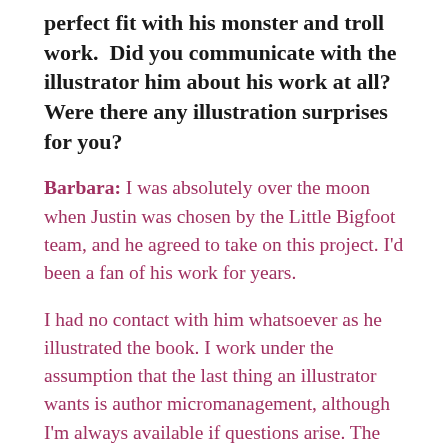perfect fit with his monster and troll work.  Did you communicate with the illustrator him about his work at all?  Were there any illustration surprises for you?
Barbara: I was absolutely over the moon when Justin was chosen by the Little Bigfoot team, and he agreed to take on this project. I'd been a fan of his work for years.
I had no contact with him whatsoever as he illustrated the book. I work under the assumption that the last thing an illustrator wants is author micromanagement, although I'm always available if questions arise. The executive editor at Little Bigfoot worked as a go-between and would pass on illustrations and ask for feedback on occasion. But mostly, CliFF was Justin's baby during that span of a year or so. I couldn't wait until